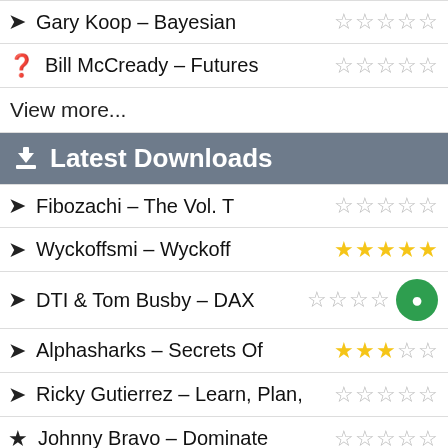Gary Koop – Bayesian ☆☆☆☆☆
Bill McCready – Futures ☆☆☆☆☆
View more...
Latest Downloads
Fibozachi – The Vol. T ☆☆☆☆☆
Wyckoffsmi – Wyckoff ★★★★★
DTI & Tom Busby – DAX ☆☆☆☆
Alphasharks – Secrets Of ★★★☆☆
Ricky Gutierrez – Learn, Plan, ☆☆☆☆☆
Johnny Bravo – Dominate ☆☆☆☆☆
Hubert Senters – Ichimoku ☆☆☆☆☆
SheridanMentoring – Short ☆☆☆☆☆
Steven Dux – Freedom ★★★★☆
Traderandinvestorsummit – ☆☆☆